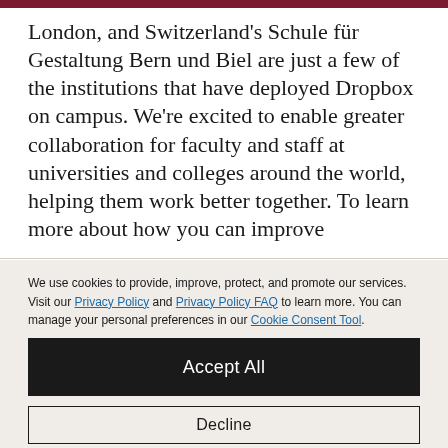London, and Switzerland's Schule für Gestaltung Bern und Biel are just a few of the institutions that have deployed Dropbox on campus. We're excited to enable greater collaboration for faculty and staff at universities and colleges around the world, helping them work better together. To learn more about how you can improve
We use cookies to provide, improve, protect, and promote our services. Visit our Privacy Policy and Privacy Policy FAQ to learn more. You can manage your personal preferences in our Cookie Consent Tool.
Accept All
Decline